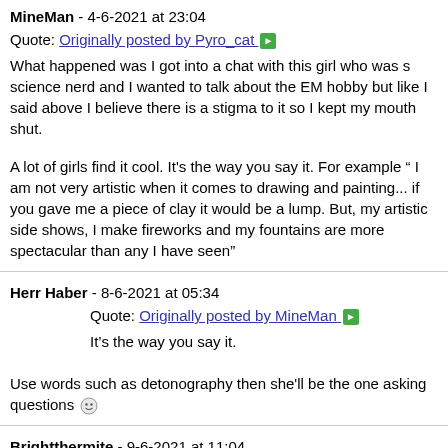MineMan - 4-6-2021 at 23:04
Quote: Originally posted by Pyro_cat
What happened was I got into a chat with this girl who was s science nerd and I wanted to talk about the EM hobby but like I said above I believe there is a stigma to it so I kept my mouth shut.
A lot of girls find it cool. It's the way you say it. For example " I am not very artistic when it comes to drawing and painting... if you gave me a piece of clay it would be a lump. But, my artistic side shows, I make fireworks and my fountains are more spectacular than any I have seen"
Herr Haber - 8-6-2021 at 05:34
Quote: Originally posted by MineMan
It's the way you say it.
Use words such as detonography then she'll be the one asking questions
Brightthermite - 9-6-2021 at 11:04